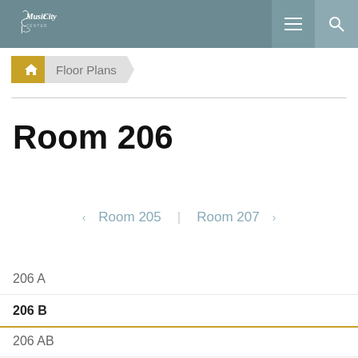Music City Center — navigation header with logo, menu icon, and search icon
Floor Plans
Room 206
< Room 205  |  Room 207 >
206 A
206 B
206 AB